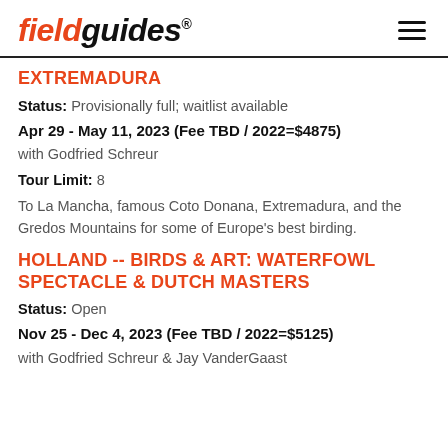fieldguides®
EXTREMADURA
Status: Provisionally full; waitlist available
Apr 29 - May 11, 2023 (Fee TBD / 2022=$4875)
with Godfried Schreur
Tour Limit: 8
To La Mancha, famous Coto Donana, Extremadura, and the Gredos Mountains for some of Europe's best birding.
HOLLAND -- BIRDS & ART: WATERFOWL SPECTACLE & DUTCH MASTERS
Status: Open
Nov 25 - Dec 4, 2023 (Fee TBD / 2022=$5125)
with Godfried Schreur & Jay VanderGaast